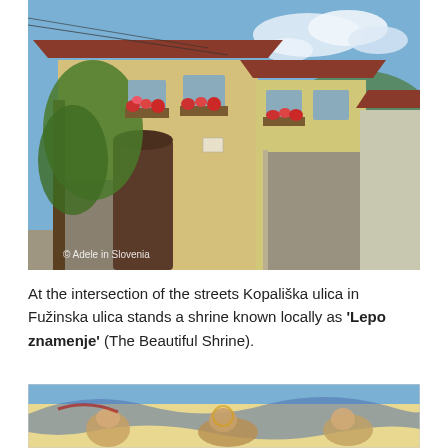[Figure (photo): Street view of traditional Slovenian buildings with yellow-plastered facades, flower boxes with red and pink flowers, arched loggias, a wooden door entrance, and a road stretching into the distance. A tree with green foliage is on the left side. Watermark reads '© Adele in Slovenia'.]
At the intersection of the streets Kopališka ulica in Fužinska ulica stands a shrine known locally as 'Lepo znamenje' (The Beautiful Shrine).
[Figure (photo): Partial view of a colorful fresco or mural depicting religious imagery, with blue sky visible and ornate painted details.]